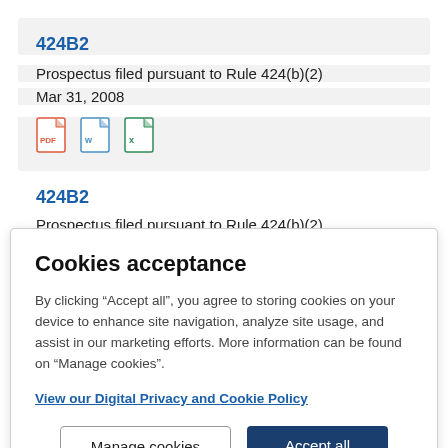424B2
Prospectus filed pursuant to Rule 424(b)(2)
Mar 31, 2008
[Figure (other): File format icons: PDF (red), Word (blue), Excel (green)]
424B2
Prospectus filed pursuant to Rule 424(b)(2)
Cookies acceptance
By clicking “Accept all”, you agree to storing cookies on your device to enhance site navigation, analyze site usage, and assist in our marketing efforts. More information can be found on "Manage cookies".
View our Digital Privacy and Cookie Policy
Manage cookies
Accept all